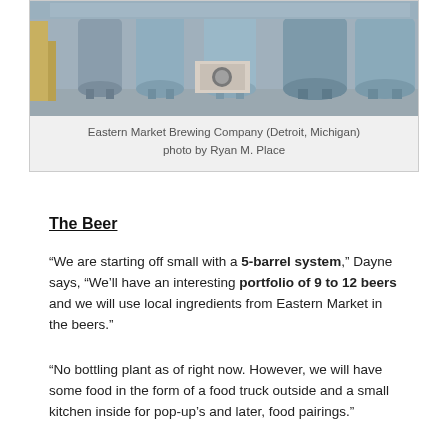[Figure (photo): Interior of Eastern Market Brewing Company showing large stainless steel fermentation tanks on a concrete floor with equipment and boxes]
Eastern Market Brewing Company (Detroit, Michigan)
photo by Ryan M. Place
The Beer
“We are starting off small with a 5-barrel system,” Dayne says, “We’ll have an interesting portfolio of 9 to 12 beers and we will use local ingredients from Eastern Market in the beers.”
“No bottling plant as of right now. However, we will have some food in the form of a food truck outside and a small kitchen inside for pop-up’s and later, food pairings.”